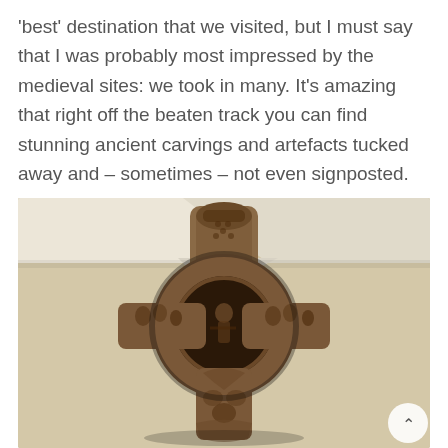'best' destination that we visited, but I must say that I was probably most impressed by the medieval sites: we took in many. It's amazing that right off the beaten track you can find stunning ancient carvings and artefacts tucked away and – sometimes – not even signposted.
[Figure (photo): A carved medieval Celtic cross head displayed in a museum or gallery setting. The intricately detailed stone carving shows figural scenes and interlace patterns on the cross arms and central ring. The background shows a pale yellow/cream painted interior with a white ceiling.]